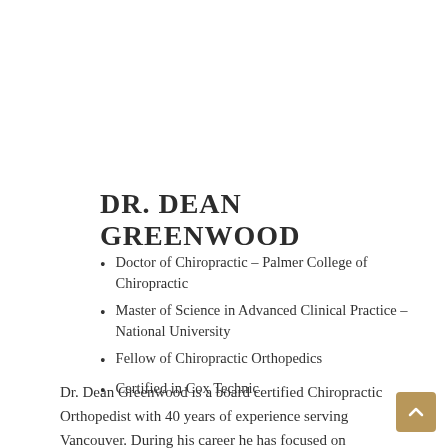DR. DEAN GREENWOOD
Doctor of Chiropractic – Palmer College of Chiropractic
Master of Science in Advanced Clinical Practice – National University
Fellow of Chiropractic Orthopedics
Certified in Cox Technic
Dr. Dean Greenwood is a board certified Chiropractic Orthopedist with 40 years of experience serving Vancouver. During his career he has focused on